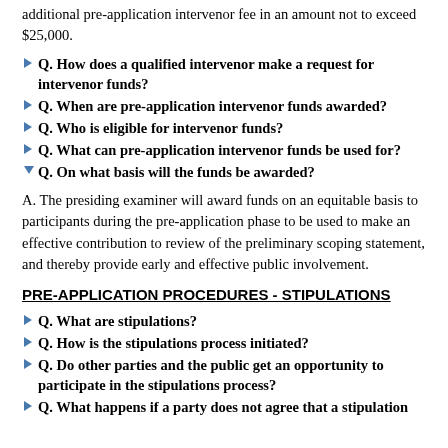additional pre-application intervenor fee in an amount not to exceed $25,000.
Q. How does a qualified intervenor make a request for intervenor funds?
Q. When are pre-application intervenor funds awarded?
Q. Who is eligible for intervenor funds?
Q. What can pre-application intervenor funds be used for?
Q. On what basis will the funds be awarded?
A. The presiding examiner will award funds on an equitable basis to participants during the pre-application phase to be used to make an effective contribution to review of the preliminary scoping statement, and thereby provide early and effective public involvement.
PRE-APPLICATION PROCEDURES - STIPULATIONS
Q. What are stipulations?
Q. How is the stipulations process initiated?
Q. Do other parties and the public get an opportunity to participate in the stipulations process?
Q. What happens if a party does not agree that a stipulation